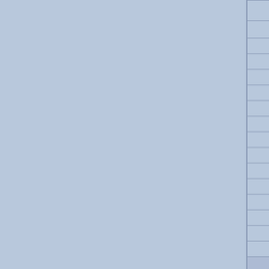| Other mutations in this stock | To... |
| --- | --- |
|  | G... |
|  | 1... |
|  | 1... |
|  | 1... |
|  | 1... |
|  | 1... |
|  | 2... |
|  | 2... |
|  | 2... |
|  | 2... |
|  | 2... |
|  | 4... |
|  | 4... |
|  | 4... |